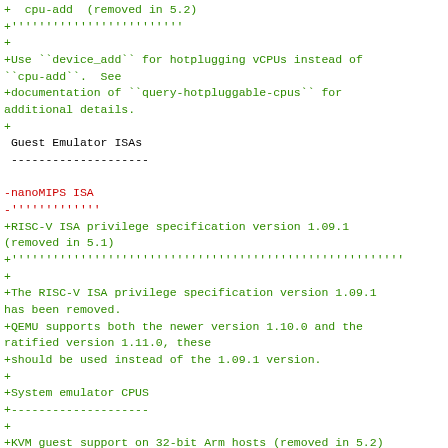+  cpu-add  (removed in 5.2)
+'''''''''''''''''''''''''
+
+Use ``device_add`` for hotplugging vCPUs instead of
``cpu-add``.  See
+documentation of ``query-hotpluggable-cpus`` for
additional details.
+
 Guest Emulator ISAs
 --------------------

-nanoMIPS ISA
-''''''''''''''
+RISC-V ISA privilege specification version 1.09.1
(removed in 5.1)
+'''''''''''''''''''''''''''''''''''''''''''''''''''''''
+
+The RISC-V ISA privilege specification version 1.09.1
has been removed.
+QEMU supports both the newer version 1.10.0 and the
ratified version 1.11.0, these
+should be used instead of the 1.09.1 version.
+
+System emulator CPUS
+--------------------
+
+KVM guest support on 32-bit Arm hosts (removed in 5.2)
+'''''''''''''''''''''''''''''''''''''''''''''''''''''''
+
+The Linux kernel has dropped support for allowing 32-
bit Arm...